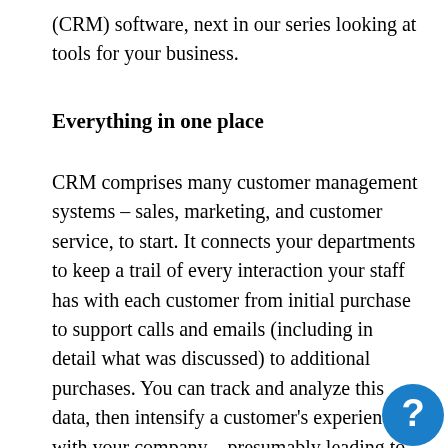(CRM) software, next in our series looking at tools for your business.
Everything in one place
CRM comprises many customer management systems – sales, marketing, and customer service, to start. It connects your departments to keep a trail of every interaction your staff has with each customer from initial purchase to support calls and emails (including in detail what was discussed) to additional purchases. You can track and analyze this data, then intensify a customer's experience with your company – presumably leading to repeat or increased sales and better profits.